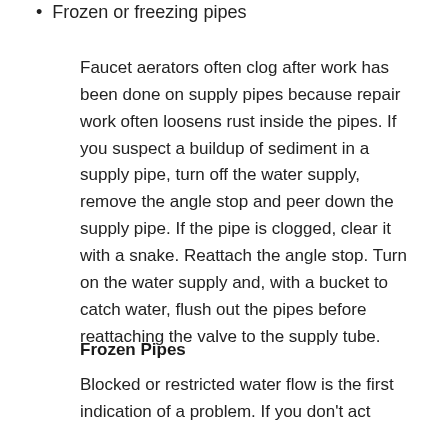Frozen or freezing pipes
Faucet aerators often clog after work has been done on supply pipes because repair work often loosens rust inside the pipes. If you suspect a buildup of sediment in a supply pipe, turn off the water supply, remove the angle stop and peer down the supply pipe. If the pipe is clogged, clear it with a snake. Reattach the angle stop. Turn on the water supply and, with a bucket to catch water, flush out the pipes before reattaching the valve to the supply tube.
Frozen Pipes
Blocked or restricted water flow is the first indication of a problem. If you don't act quickly, you could still lose the water